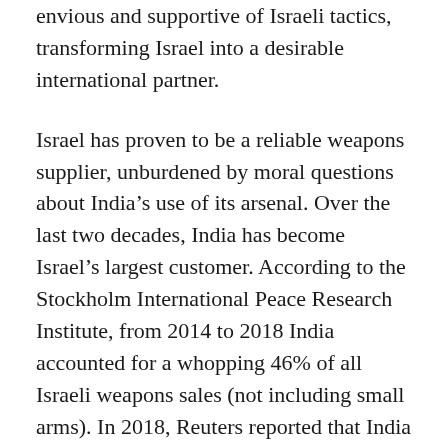envious and supportive of Israeli tactics, transforming Israel into a desirable international partner.
Israel has proven to be a reliable weapons supplier, unburdened by moral questions about India’s use of its arsenal. Over the last two decades, India has become Israel’s largest customer. According to the Stockholm International Peace Research Institute, from 2014 to 2018 India accounted for a whopping 46% of all Israeli weapons sales (not including small arms). In 2018, Reuters reported that India buys around one billion dollars in weapons from Israel every year.
But the partnership between Israel and India’s current leaders goes beyond weapons trade into an